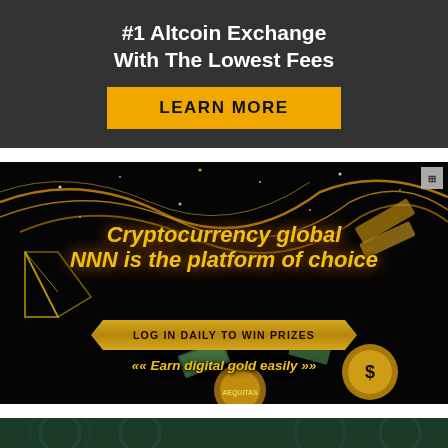[Figure (infographic): Dark gray advertisement banner: '#1 Altcoin Exchange With The Lowest Fees' in bold white text, with a yellow 'LEARN MORE' button below.]
[Figure (infographic): Black background cryptocurrency advertisement with gold swirl lines, triangle logo, golden text 'Cryptocurrency global NNN is the platform of choice', a gold ribbon banner 'LOG IN DAILY TO WIN PRIZES', text 'Earn digital gold easily' with arrows, and gold coins/dollar bills at the bottom.]
[Figure (illustration): Dark green banner with decorative pattern, partially visible at the bottom of the page.]